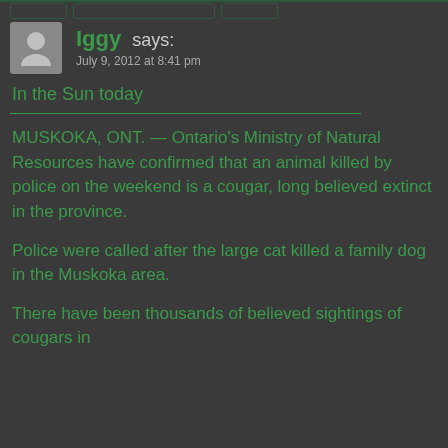Iggy says: July 9, 2012 at 8:41 pm
In the Sun today
MUSKOKA, ONT. — Ontario's Ministry of Natural Resources have confirmed that an animal killed by police on the weekend is a cougar, long believed extinct in the province.
Police were called after the large cat killed a family dog in the Muskoka area.
There have been thousands of believed sightings of cougars in